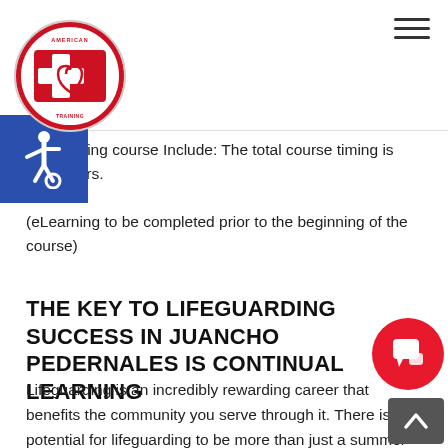3. Swim 150 yards of front crawl
4. Swim 150 yards of breast stroke
...ard Training course Include: The total course timing is 26.5 hours.
(eLearning to be completed prior to the beginning of the course)
THE KEY TO LIFEGUARDING SUCCESS IN JUANCHO PEDERNALES IS CONTINUAL LEARNING
Lifeguarding is an incredibly rewarding career that benefits the community you serve through it. There is potential for lifeguarding to be more than just a summer job for stu... lifeguards are required at many levels. From your nei...d pool to 5-star resorts in the Caribbean, this career path cou... to be next level positions right to... So a lifegua... b...